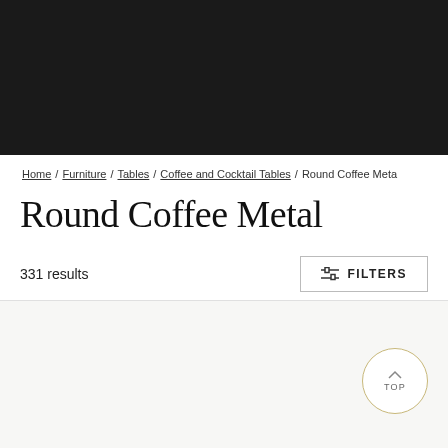[Figure (screenshot): Black navigation header bar at the top of a retail website]
Home / Furniture / Tables / Coffee and Cocktail Tables / Round Coffee Meta
Round Coffee Metal
331 results
FILTERS
[Figure (screenshot): Product listing area showing partial product images at the bottom, with a heart/wishlist icon and a TOP scroll button]